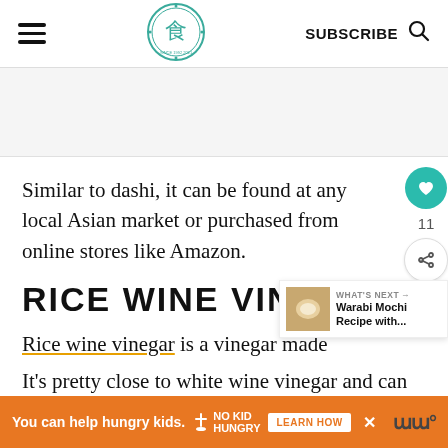SUBSCRIBE
[Figure (logo): Circular green logo with Asian food character in center, decorative border]
Similar to dashi, it can be found at any local Asian market or purchased from online stores like Amazon.
RICE WINE VINEGAR
[Figure (photo): Warabi Mochi food photo thumbnail for What's Next section]
WHAT'S NEXT → Warabi Mochi Recipe with...
Rice wine vinegar is a vinegar made
It's pretty close to white wine vinegar and can
[Figure (infographic): Orange advertisement banner: You can help hungry kids. No Kid Hungry. LEARN HOW button.]